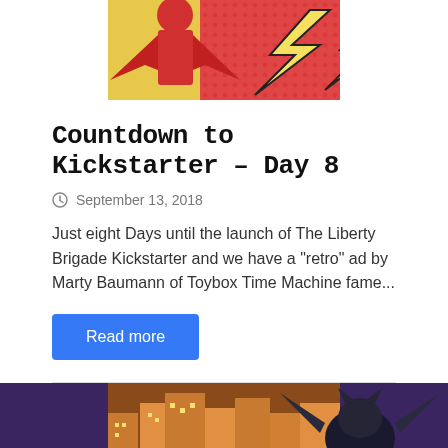[Figure (illustration): Comic book style illustration with a superhero figure in red against a yellow and red background with lightning bolt shapes]
Countdown to Kickstarter – Day 8
September 13, 2018
Just eight Days until the launch of The Liberty Brigade Kickstarter and we have a "retro" ad by Marty Baumann of Toybox Time Machine fame...
Read more
[Figure (illustration): Comic book artwork showing superhero characters including a bat-like figure against a city skyline at night with purple/orange tones]